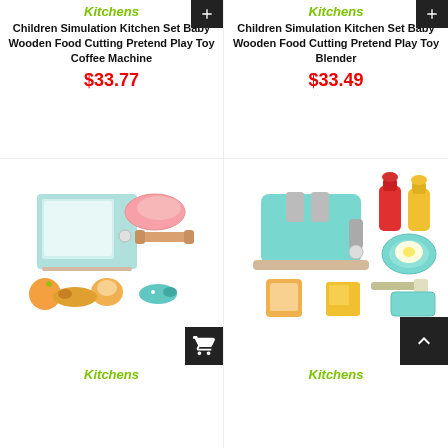Kitchens
Children Simulation Kitchen Set Baby Wooden Food Cutting Pretend Play Toy Coffee Machine
$33.77
[Figure (photo): Toy wooden microwave set with food accessories]
Kitchens
Kitchens
Children Simulation Kitchen Set Baby Wooden Food Cutting Pretend Play Toy Blender
$33.49
[Figure (photo): Toy wooden toaster set with breakfast accessories]
Kitchens